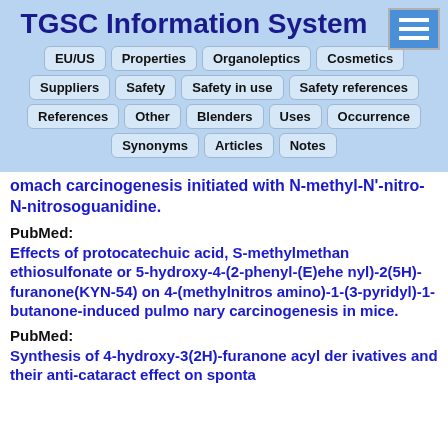TGSC Information System
EU/US  Properties  Organoleptics  Cosmetics
Suppliers  Safety  Safety in use  Safety references
References  Other  Blenders  Uses  Occurrence
Synonyms  Articles  Notes
omach carcinogenesis initiated with N-methyl-N'-nitro-N-nitrosoguanidine.
PubMed:
Effects of protocatechuic acid, S-methylmethanethiosulfonate or 5-hydroxy-4-(2-phenyl-(E)ethenyl)-2(5H)-furanone(KYN-54) on 4-(methylnitrosamino)-1-(3-pyridyl)-1-butanone-induced pulmonary carcinogenesis in mice.
PubMed:
Synthesis of 4-hydroxy-3(2H)-furanone acyl derivatives and their anti-cataract effect on sponta